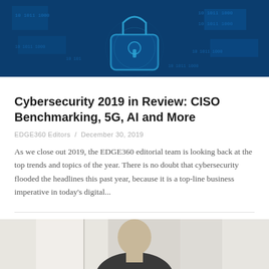[Figure (photo): Dark blue cybersecurity-themed image with a padlock and binary/digital code overlay]
Cybersecurity 2019 in Review: CISO Benchmarking, 5G, AI and More
EDGE360 Editors / December 30, 2019
As we close out 2019, the EDGE360 editorial team is looking back at the top trends and topics of the year. There is no doubt that cybersecurity flooded the headlines this past year, because it is a top-line business imperative in today's digital...
[Figure (photo): Partial photo of a person, cropped at bottom of page, appearing to be a headshot or portrait]